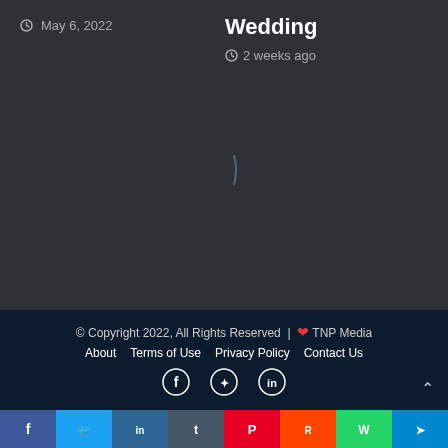May 6, 2022
Wedding
2 weeks ago
© Copyright 2022, All Rights Reserved | ❤ TNP Media
About   Terms of Use   Privacy Policy   Contact Us
[Figure (other): Social media share buttons: Facebook, Twitter, LinkedIn, Tumblr, Pinterest, Reddit, WhatsApp, Telegram]